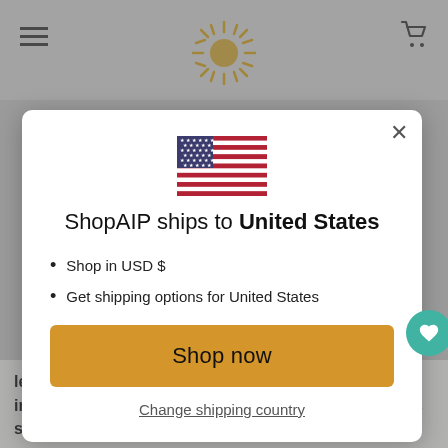[Figure (screenshot): ShopAIP website screenshot showing a modal dialog. Modal contains a US flag SVG, title 'ShopAIP ships to United States', two bullet points about USD and shipping options, a golden 'Shop now' button, and a 'Change shipping country' link. Background shows hamburger menu, sun logo, shopping cart icon, and partial article text.]
ShopAIP ships to United States
Shop in USD $
Get shipping options for United States
Shop now
Change shipping country
leafy green intake? I'm guessing most of us can improve in this department. In this post, Sarah shares some of the benefits of